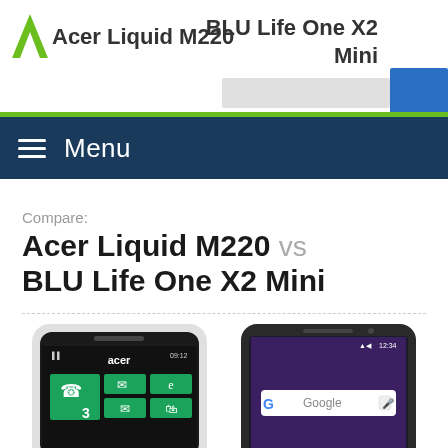Acer Liquid M220 | BLU Life One X2 Mini
Menu
Compare:
Acer Liquid M220 vs BLU Life One X2 Mini
[Figure (photo): Photo of Acer Liquid M220 smartphone showing Windows Phone tiles interface]
[Figure (photo): Photo of BLU Life One X2 Mini smartphone showing Android home screen with Google search bar]